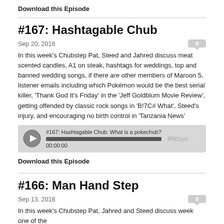Download this Episode
#167: Hashtagable Chub
Sep 20, 2018
In this week's Chubstep Pat, Steed and Jahred discuss meat scented candles, A1 on steak, hashtags for weddings, top and banned wedding songs, if there are other members of Maroon 5, listener emails including which Pokémon would be the best serial killer, 'Thank God It's Friday' in the 'Jeff Goldblum Movie Review', getting offended by classic rock songs in 'B!7C# What', Steed's injury, and encouraging no birth control in 'Tanzania News'
[Figure (other): Podcast audio player widget showing '#167: Hashtagable Chub: What is a pokechub?' with play button, progress bar at 00:00:00, and libsyn logo]
Download this Episode
#166: Man Hand Step
Sep 13, 2018
In this week's Chubstep Pat, Jahred and Steed discuss week one of the